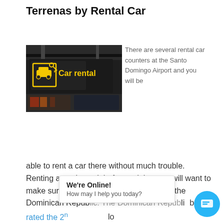Terrenas by Rental Car
[Figure (photo): Car rental sign at an airport showing a yellow icon of a car with a key and the text 'Car rental' on a dark background.]
There are several rental car counters at the Santo Domingo Airport and you will be able to rent a car there without much trouble. Renting a car is straight forward, but you will want to make sure you are prepared for driving in the Dominican Republic. The Dominican Republic has been rated the 2nd ... driving. If you rent a car, we suggest you pay for
We're Online! How may I help you today?